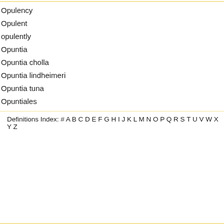Opulency
Opulent
opulently
Opuntia
Opuntia cholla
Opuntia lindheimeri
Opuntia tuna
Opuntiales
Opus
Opus incertum
Definitions Index: # A B C D E F G H I J K L M N O P Q R S T U V W X Y Z